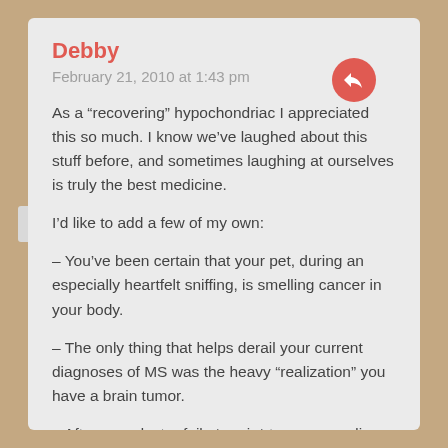Debby
February 21, 2010 at 1:43 pm
As a “recovering” hypochondriac I appreciated this so much. I know we’ve laughed about this stuff before, and sometimes laughing at ourselves is truly the best medicine.
I’d like to add a few of my own:
– You’ve been certain that your pet, during an especially heartfelt sniffing, is smelling cancer in your body.
– The only thing that helps derail your current diagnoses of MS was the heavy “realization” you have a brain tumor.
– After your doctor fails *again* to see your dire situation you take a closer look at his credentials listed in his office